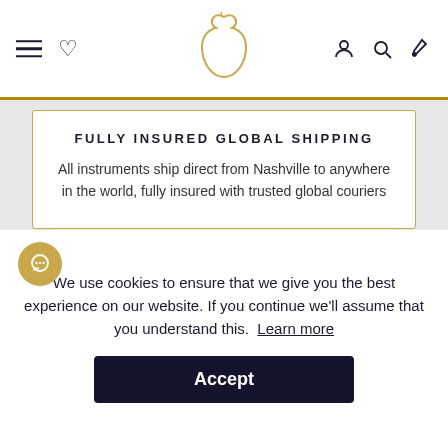Navigation bar with hamburger menu, heart icon, pear logo, account icon, search icon, and cart icon
FULLY INSURED GLOBAL SHIPPING
All instruments ship direct from Nashville to anywhere in the world, fully insured with trusted global couriers
[Figure (illustration): Illustration of a hand holding a shipping box with a return arrow tag, indicating returns/shipping policy]
We use cookies to ensure that we give you the best experience on our website. If you continue we'll assume that you understand this. Learn more
Accept